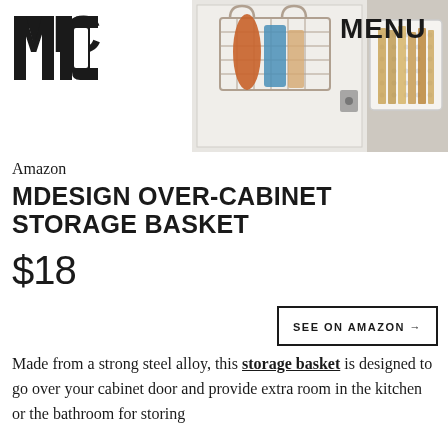[Figure (photo): MIC logo on left and product photo on right showing an over-cabinet wire storage basket mounted on a cabinet door with items inside, and a white perforated basket beside it. MENU text overlay visible on top right.]
Amazon
MDESIGN OVER-CABINET STORAGE BASKET
$18
SEE ON AMAZON →
Made from a strong steel alloy, this storage basket is designed to go over your cabinet door and provide extra room in the kitchen or the bathroom for storing